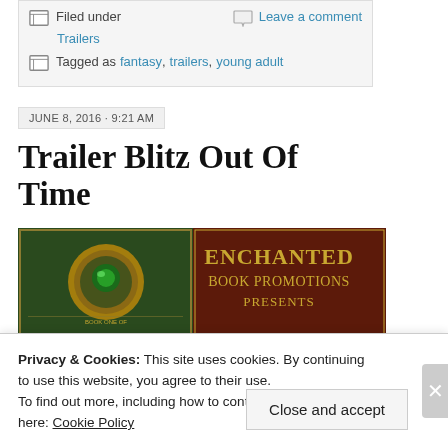Filed under | Leave a comment
Trailers
Tagged as fantasy, trailers, young adult
JUNE 8, 2016 · 9:21 AM
Trailer Blitz Out Of Time
[Figure (illustration): Banner image for Enchanted Book Promotions presents — dark green/gold fantasy book cover on left, 'ENCHANTED BOOK PROMOTIONS PRESENTS' text on dark red/brown background on right]
Privacy & Cookies: This site uses cookies. By continuing to use this website, you agree to their use.
To find out more, including how to control cookies, see here: Cookie Policy
Close and accept